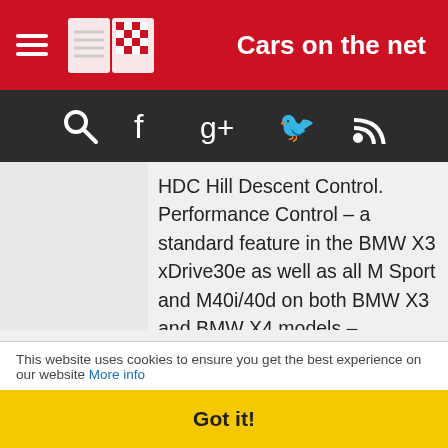Cars on the net
HDC Hill Descent Control. Performance Control – a standard feature in the BMW X3 xDrive30e as well as all M Sport and M40i/40d on both BMW X3 and BMW X4 models – increases agility by distributing drive torque to the rear wheels depending on the situation.
Special dynamic performance in the M40i and M40d models
The M40i and M40d models of the BMW X3 and BMW X4 offer even more
This website uses cookies to ensure you get the best experience on our website More info
Got it!